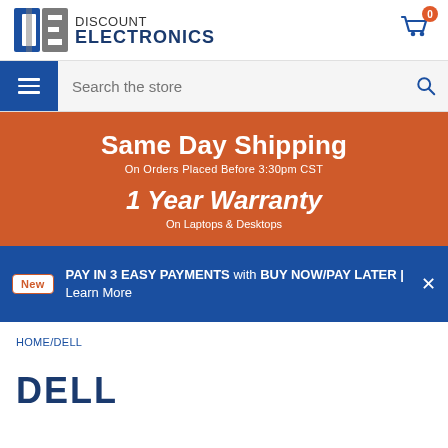[Figure (logo): Discount Electronics logo with stylized DE icon and text]
[Figure (screenshot): Shopping cart icon with 0 badge]
[Figure (screenshot): Navigation bar with hamburger menu and search box]
Same Day Shipping
On Orders Placed Before 3:30pm CST
1 Year Warranty
On Laptops & Desktops
New PAY IN 3 EASY PAYMENTS with BUY NOW/PAY LATER | Learn More
HOME/DELL
DELL